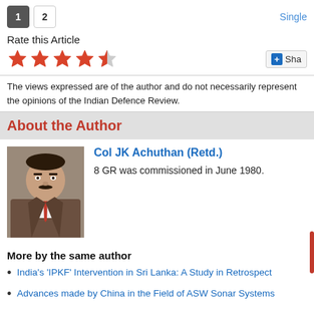1  2  Single
Rate this Article
[Figure (other): 4.5 out of 5 stars rating with share button]
The views expressed are of the author and do not necessarily represent the opinions of the Indian Defence Review.
About the Author
[Figure (photo): Portrait photo of Col JK Achuthan (Retd.) in a brown suit with red tie]
Col JK Achuthan (Retd.)
8 GR was commissioned in June 1980.
More by the same author
India's 'IPKF' Intervention in Sri Lanka: A Study in Retrospect
Advances made by China in the Field of ASW Sonar Systems